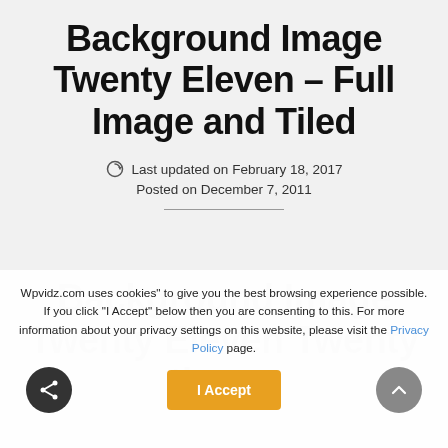Background Image Twenty Eleven – Full Image and Tiled
Last updated on February 18, 2017
Posted on December 7, 2011
Wpvidz.com uses cookies" to give you the best browsing experience possible. If you click "I Accept" below then you are consenting to this. For more information about your privacy settings on this website, please visit the Privacy Policy page.